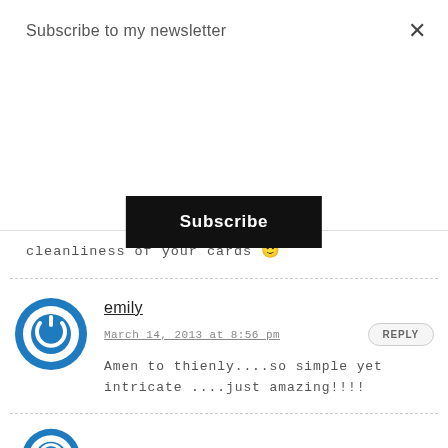Subscribe to my newsletter
Subscribe
cleanliness of your cards 🙂
emily
March 14, 2013 at 8:56 pm
Amen to thienly....so simple yet intricate ....just amazing!!!!
Mercy H